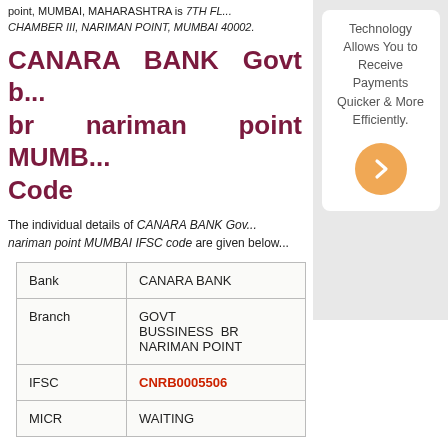point, MUMBAI, MAHARASHTRA is 7TH FL... CHAMBER III, NARIMAN POINT, MUMBAI 40002...
CANARA BANK Govt b... br nariman point MUMB... Code
The individual details of CANARA BANK Gov... nariman point MUMBAI IFSC code are given below...
| Bank | CANARA BANK |
| --- | --- |
| Branch | GOVT BUSSINESS BR NARIMAN POINT |
| IFSC | CNRB0005506 |
| MICR | WAITING |
[Figure (infographic): Sidebar with text 'Technology Allows You to Receive Payments Quicker & More Efficiently.' and an orange circular button with right arrow chevron.]